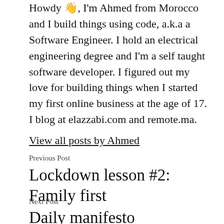Howdy 👋, I'm Ahmed from Morocco and I build things using code, a.k.a a Software Engineer. I hold an electrical engineering degree and I'm a self taught software developer. I figured out my love for building things when I started my first online business at the age of 17. I blog at elazzabi.com and remote.ma.
View all posts by Ahmed
Previous Post
Lockdown lesson #2: Family first
Next Post
Daily manifesto